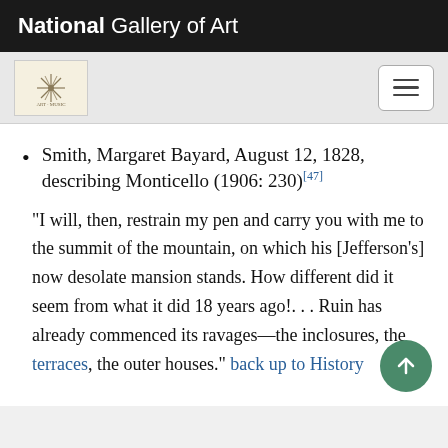National Gallery of Art
Smith, Margaret Bayard, August 12, 1828, describing Monticello (1906: 230)[47]
“I will, then, restrain my pen and carry you with me to the summit of the mountain, on which his [Jefferson’s] now desolate mansion stands. How different did it seem from what it did 18 years ago!. . . Ruin has already commenced its ravages—the inclosures, the terraces, the outer houses.” back up to History